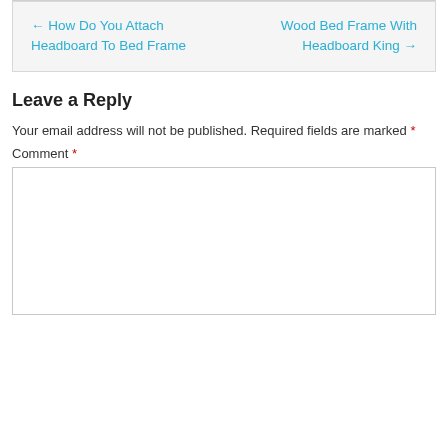← How Do You Attach Headboard To Bed Frame
Wood Bed Frame With Headboard King →
Leave a Reply
Your email address will not be published. Required fields are marked *
Comment *